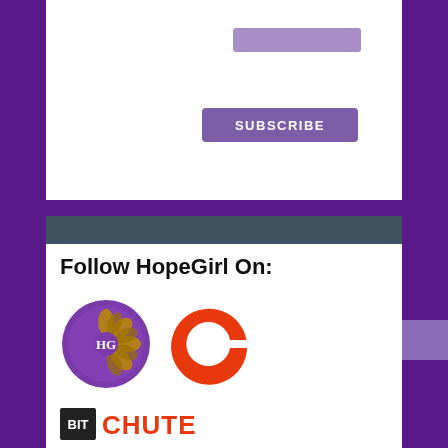[Figure (screenshot): Email subscribe form input bar (purple/lavender rectangle)]
SUBSCRIBE
We respect your email privacy
[Figure (other): Purple footer bar of subscription card]
Follow HopeGirl On:
[Figure (logo): HopeGirl HG circular logo with purple background and gold flower design]
[Figure (logo): OC logo: large red stylized letter C]
[Figure (logo): BitChute logo: BIT in black box followed by CHUTE in red]